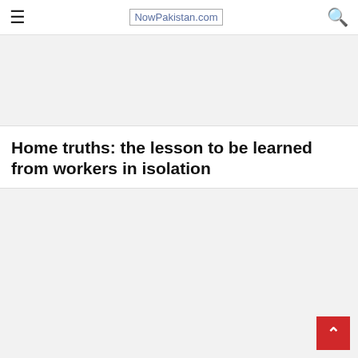NowPakistan.com
[Figure (other): Advertisement placeholder box (gray background)]
Home truths: the lesson to be learned from workers in isolation
[Figure (other): Advertisement placeholder box (gray background) with back-to-top red button]